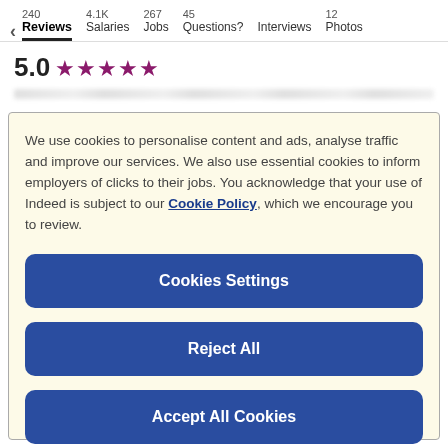240 Reviews | 4.1K Salaries | 267 Jobs | 45 Questions? | Interviews | 12 Photos
5.0 ★★★★★
We use cookies to personalise content and ads, analyse traffic and improve our services. We also use essential cookies to inform employers of clicks to their jobs. You acknowledge that your use of Indeed is subject to our Cookie Policy, which we encourage you to review.
Cookies Settings
Reject All
Accept All Cookies